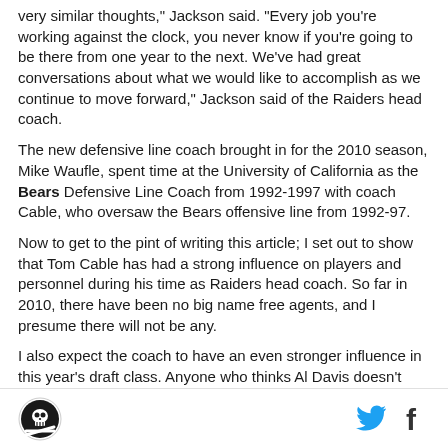very similar thoughts," Jackson said. "Every job you're working against the clock, you never know if you're going to be there from one year to the next. We've had great conversations about what we would like to accomplish as we continue to move forward," Jackson said of the Raiders head coach.
The new defensive line coach brought in for the 2010 season, Mike Waufle, spent time at the University of California as the Bears Defensive Line Coach from 1992-1997 with coach Cable, who oversaw the Bears offensive line from 1992-97.
Now to get to the pint of writing this article; I set out to show that Tom Cable has had a strong influence on players and personnel during his time as Raiders head coach. So far in 2010, there have been no big name free agents, and I presume there will not be any.
I also expect the coach to have an even stronger influence in this year's draft class. Anyone who thinks Al Davis doesn't care what his coaches desires are, I hope you can walk away from this article with a different perspective. Or at least it's different with this coach.
So don't be surprised if this year's first round pick has
[logo] [twitter] [facebook]